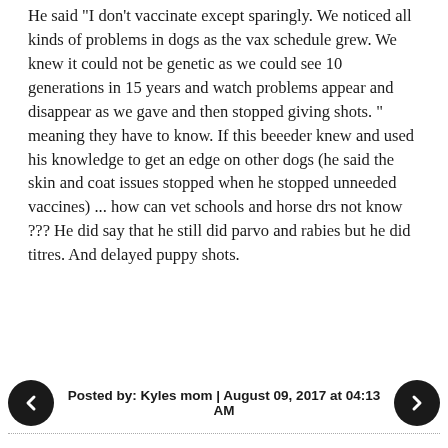He said "I don't vaccinate except sparingly. We noticed all kinds of problems in dogs as the vax schedule grew. We knew it could not be genetic as we could see 10 generations in 15 years and watch problems appear and disappear as we gave and then stopped giving shots. " meaning they have to know. If this beeeder knew and used his knowledge to get an edge on other dogs (he said the skin and coat issues stopped when he stopped unneeded vaccines) ... how can vet schools and horse drs not know ??? He did say that he still did parvo and rabies but he did titres. And delayed puppy shots.
Posted by: Kyles mom | August 09, 2017 at 04:13 AM